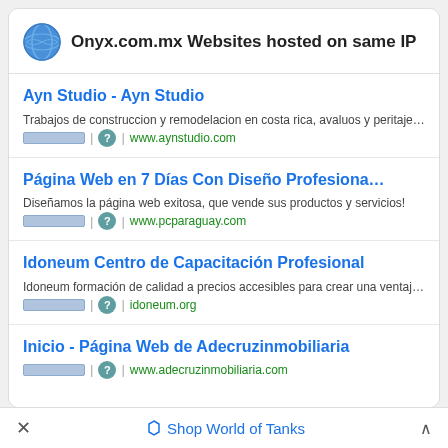Onyx.com.mx Websites hosted on same IP
Ayn Studio - Ayn Studio
Trabajos de construccion y remodelacion en costa rica, avaluos y peritaje…
www.aynstudio.com
Página Web en 7 Días Con Diseño Profesiona…
Diseñamos la página web exitosa, que vende sus productos y servicios!
www.pcparaguay.com
Idoneum Centro de Capacitación Profesional
Idoneum formación de calidad a precios accesibles para crear una ventaj…
idoneum.org
Inicio - Página Web de Adecruzinmobiliaria
www.adecruzinmobiliaria.com
✕   Shop World of Tanks   ˄